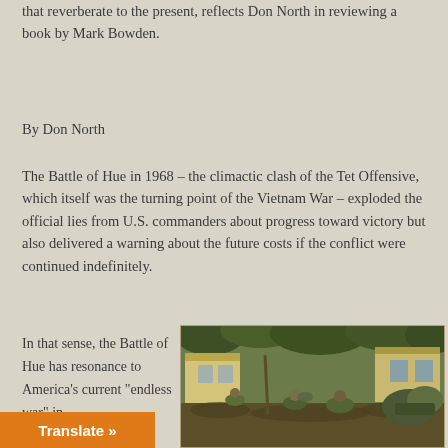that reverberate to the present, reflects Don North in reviewing a book by Mark Bowden.
By Don North
The Battle of Hue in 1968 – the climactic clash of the Tet Offensive, which itself was the turning point of the Vietnam War – exploded the official lies from U.S. commanders about progress toward victory but also delivered a warning about the future costs if the conflict were continued indefinitely.
In that sense, the Battle of Hue has resonance to America’s current “endless war” in
[Figure (photo): Soldiers in combat gear crouching and moving through a wooded area near buildings during the Battle of Hue, Vietnam War.]
Translate »